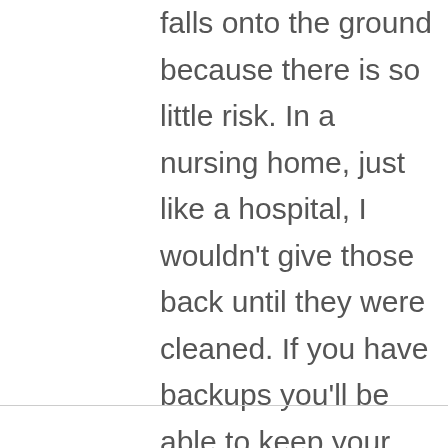falls onto the ground because there is so little risk. In a nursing home, just like a hospital, I wouldn't give those back until they were cleaned. If you have backups you'll be able to keep your baby entertained without having to worry about germs.